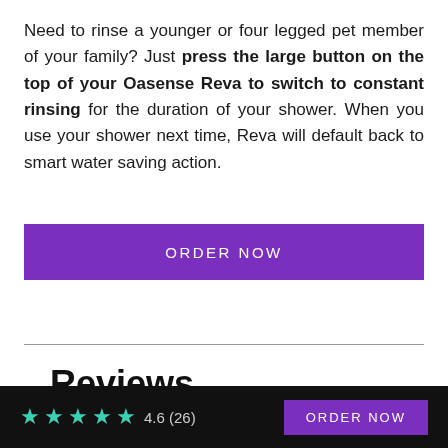Need to rinse a younger or four legged pet member of your family? Just press the large button on the top of your Oasense Reva to switch to constant rinsing for the duration of your shower. When you use your shower next time, Reva will default back to smart water saving action.
[Figure (other): Purple ORDER NOW button]
Reviews
[Figure (other): Bottom black bar with teal star rating 4.6 (26) and purple ORDER NOW button]